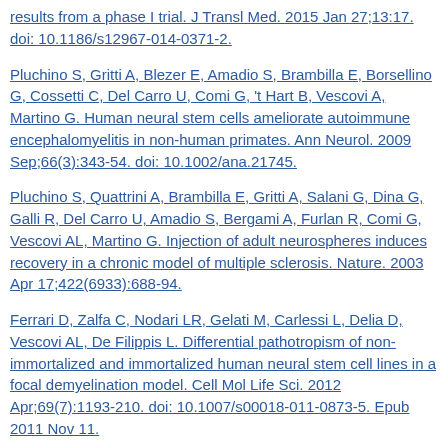results from a phase I trial. J Transl Med. 2015 Jan 27;13:17. doi: 10.1186/s12967-014-0371-2.
Pluchino S, Gritti A, Blezer E, Amadio S, Brambilla E, Borsellino G, Cossetti C, Del Carro U, Comi G, 't Hart B, Vescovi A, Martino G. Human neural stem cells ameliorate autoimmune encephalomyelitis in non-human primates. Ann Neurol. 2009 Sep;66(3):343-54. doi: 10.1002/ana.21745.
Pluchino S, Quattrini A, Brambilla E, Gritti A, Salani G, Dina G, Galli R, Del Carro U, Amadio S, Bergami A, Furlan R, Comi G, Vescovi AL, Martino G. Injection of adult neurospheres induces recovery in a chronic model of multiple sclerosis. Nature. 2003 Apr 17;422(6933):688-94.
Ferrari D, Zalfa C, Nodari LR, Gelati M, Carlessi L, Delia D, Vescovi AL, De Filippis L. Differential pathotropism of non-immortalized and immortalized human neural stem cell lines in a focal demyelination model. Cell Mol Life Sci. 2012 Apr;69(7):1193-210. doi: 10.1007/s00018-011-0873-5. Epub 2011 Nov 11.